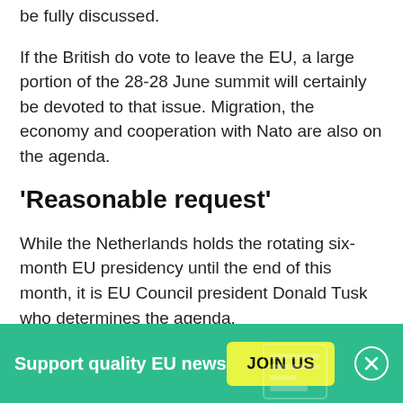be fully discussed.
If the British do vote to leave the EU, a large portion of the 28-28 June summit will certainly be devoted to that issue. Migration, the economy and cooperation with Nato are also on the agenda.
'Reasonable request'
While the Netherlands holds the rotating six-month EU presidency until the end of this month, it is EU Council president Donald Tusk who determines the agenda.
The Ukraine deal is currently not yet on the official draft
Support quality EU news
JOIN US